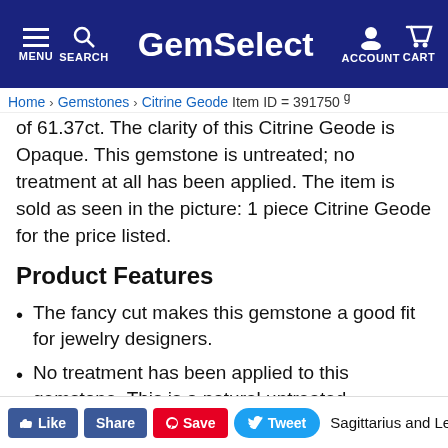GemSelect — MENU SEARCH ACCOUNT CART
Home > Gemstones > Citrine Geode   Item ID = 391750 g of 61.37ct. The clarity of this Citrine Geode is Opaque. This gemstone is untreated; no treatment at all has been applied. The item is sold as seen in the picture: 1 piece Citrine Geode for the price listed.
Product Features
The fancy cut makes this gemstone a good fit for jewelry designers.
No treatment has been applied to this gemstone. This is a natural untreated gemstone.
Product Uses
Sagittarius and Leo